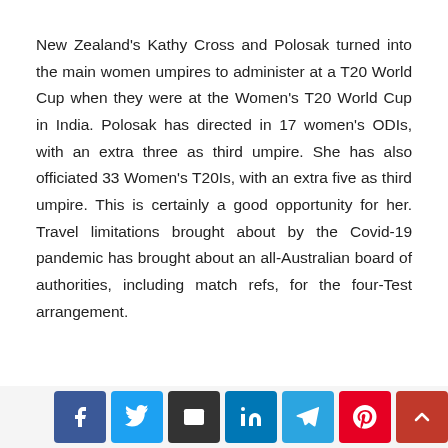New Zealand's Kathy Cross and Polosak turned into the main women umpires to administer at a T20 World Cup when they were at the Women's T20 World Cup in India. Polosak has directed in 17 women's ODIs, with an extra three as third umpire. She has also officiated 33 Women's T20Is, with an extra five as third umpire. This is certainly a good opportunity for her. Travel limitations brought about by the Covid-19 pandemic has brought about an all-Australian board of authorities, including match refs, for the four-Test arrangement.